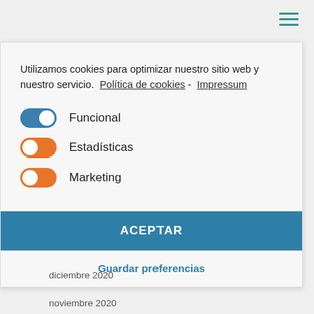[Figure (screenshot): Hamburger menu icon (three horizontal teal lines) in top-right corner]
Utilizamos cookies para optimizar nuestro sitio web y nuestro servicio.  Política de cookies -  Impressum
Funcional (toggle on, blue)
Estadísticas (toggle on, orange)
Marketing (toggle on, orange)
ACEPTAR
Guardar preferencias
diciembre 2020
noviembre 2020